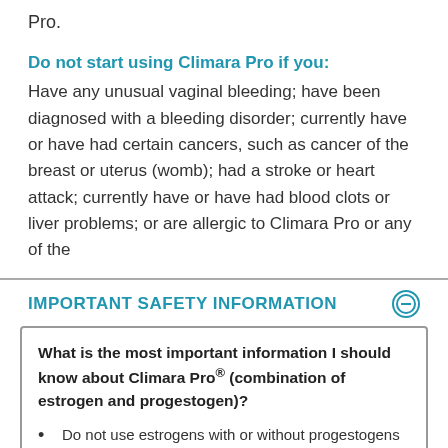Pro.
Do not start using Climara Pro if you:
Have any unusual vaginal bleeding; have been diagnosed with a bleeding disorder; currently have or have had certain cancers, such as cancer of the breast or uterus (womb); had a stroke or heart attack; currently have or have had blood clots or liver problems; or are allergic to Climara Pro or any of the
IMPORTANT SAFETY INFORMATION
What is the most important information I should know about Climara Pro® (combination of estrogen and progestogen)?
Do not use estrogens with or without progestogens to prevent heart disease, heart attacks, strokes, or dementia (declines of brain function).